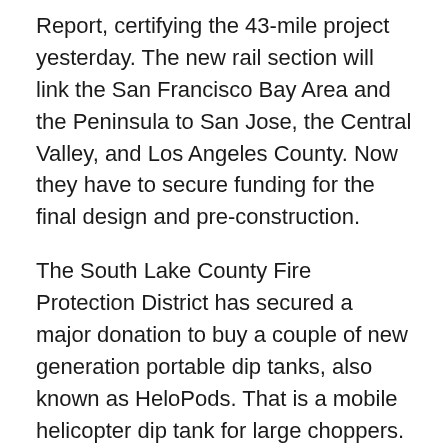Report, certifying the 43-mile project yesterday. The new rail section will link the San Francisco Bay Area and the Peninsula to San Jose, the Central Valley, and Los Angeles County. Now they have to secure funding for the final design and pre-construction.
The South Lake County Fire Protection District has secured a major donation to buy a couple of new generation portable dip tanks, also known as HeloPods. That is a mobile helicopter dip tank for large choppers. That will help firefighters get a water dip site set up faster, so firefighters are only tasked with connecting hoses to a hydrant. It means choppers can suck water right from the hydrant as it hovers. Lake Co News reports that will shorten their turnaround times. The District is one of a handful of others in the state that use the HeloPods which are manufactured in Simi Valley.